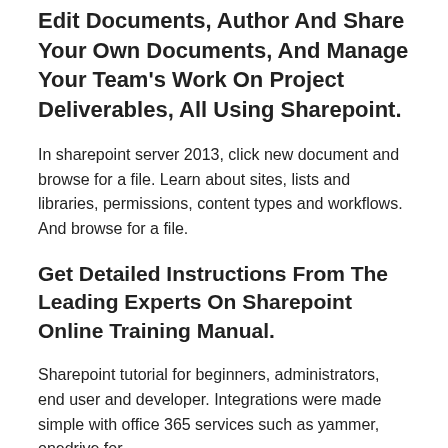Edit Documents, Author And Share Your Own Documents, And Manage Your Team's Work On Project Deliverables, All Using Sharepoint.
In sharepoint server 2013, click new document and browse for a file. Learn about sites, lists and libraries, permissions, content types and workflows. And browse for a file.
Get Detailed Instructions From The Leading Experts On Sharepoint Online Training Manual.
Sharepoint tutorial for beginners, administrators, end user and developer. Integrations were made simple with office 365 services such as yammer, onedrive for